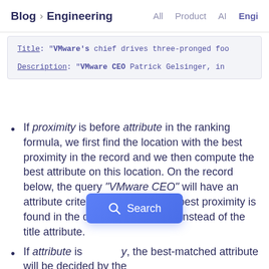Blog > Engineering  All  Product  AI  Engi
Title: "VMware's chief drives three-pronged foo...
Description: "VMware CEO Patrick Gelsinger, in...
If proximity is before attribute in the ranking formula, we first find the location with the best proximity in the record and we then compute the best attribute on this location. On the record below, the query “VMware CEO” will have an attribute criterion of 1000 as the best proximity is found in the description attribute instead of the title attribute.
If attribute is ... y, the best-matched attribute will be decided by the...